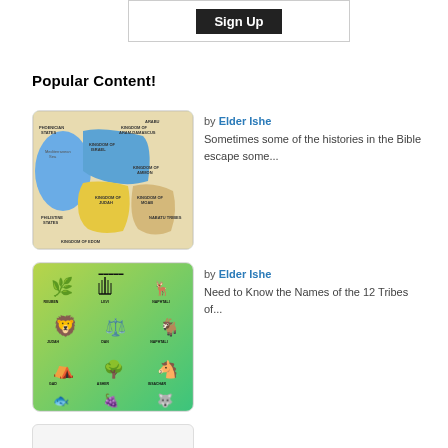[Figure (other): Sign Up button inside a bordered box]
Popular Content!
[Figure (map): Map showing ancient kingdoms including Kingdom of Israel, Kingdom of Judah, Kingdom of Aram-Damascus, Kingdom of Ammon, Kingdom of Moab, Kingdom of Edom, Philistine States, Arabu Tribes, Nabatu Tribes, Mediterranean Sea, Phoenician States]
by Elder Ishe
Sometimes some of the histories in the Bible escape some...
[Figure (illustration): Illustration showing symbols of the 12 Tribes of Israel including a lion, scales, menorah, deer/gazelle, tent, tree, donkey, grapes, fish, and other tribal symbols on a green/yellow gradient background]
by Elder Ishe
Need to Know the Names of the 12 Tribes of...